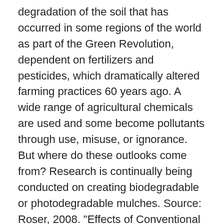degradation of the soil that has occurred in some regions of the world as part of the Green Revolution, dependent on fertilizers and pesticides, which dramatically altered farming practices 60 years ago. A wide range of agricultural chemicals are used and some become pollutants through use, misuse, or ignorance. But where do these outlooks come from? Research is continually being conducted on creating biodegradable or photodegradable mulches. Source: Roser, 2008. "Effects of Conventional and Organic Agricultural Techniques on Soil Ecology." Tilling has been shown to affect the colonization of arbuscular mycorrhizal around the rhizosphere which affects the plant's uptake of water and minerals (McGonigle et al, 1999). A large variety of cases of residual effect of pesticides and intake by human and animals have created health hazards. Wood, R., Lenzen, M., Dey, C., & Lundie, S. (2006). All 'cides kill living things. The National Oceanic and Atmospheric Administration